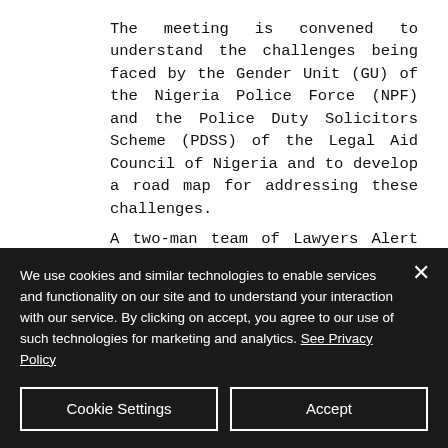The meeting is convened to understand the challenges being faced by the Gender Unit (GU) of the Nigeria Police Force (NPF) and the Police Duty Solicitors Scheme (PDSS) of the Legal Aid Council of Nigeria and to develop a road map for addressing these challenges.
A two-man team of Lawyers Alert left Abuja for Minna, Niger state on the 16th September
We use cookies and similar technologies to enable services and functionality on our site and to understand your interaction with our service. By clicking on accept, you agree to our use of such technologies for marketing and analytics. See Privacy Policy